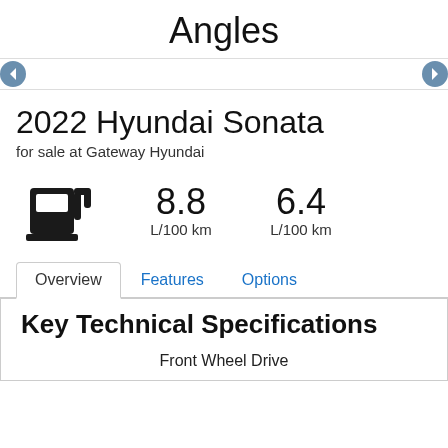Angles
[Figure (other): Navigation arrow icons on left and right sides]
2022 Hyundai Sonata
for sale at Gateway Hyundai
[Figure (infographic): Fuel pump icon with fuel consumption stats: 8.8 L/100 km and 6.4 L/100 km]
Overview | Features | Options tabs
Key Technical Specifications
Front Wheel Drive